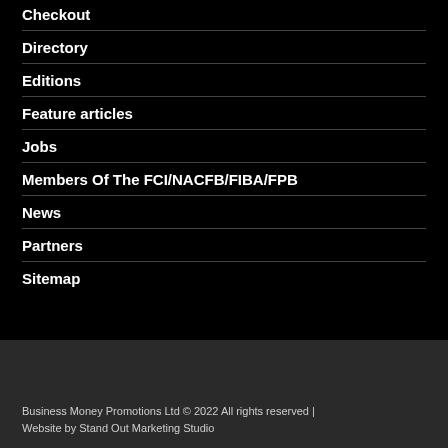Checkout
Directory
Editions
Feature articles
Jobs
Members Of The FCI/NACFB/FIBA/FPB
News
Partners
Sitemap
Business Money Promotions Ltd © 2022 All rights reserved | Website by Stand Out Marketing Studio